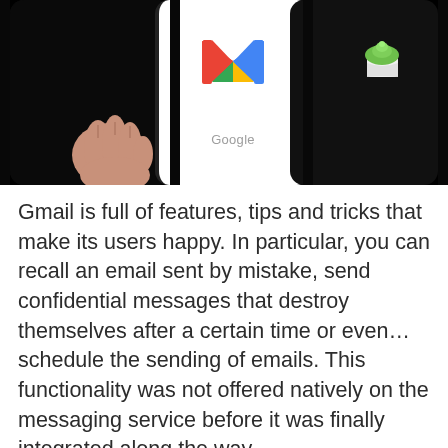[Figure (photo): Two smartphones side by side on a dark background. The center phone displays a white screen with the Gmail 'M' logo and 'Google' text below. The left phone is dark and held by a hand. The right phone shows a small green cupcake app icon on a dark screen.]
Gmail is full of features, tips and tricks that make its users happy. In particular, you can recall an email sent by mistake, send confidential messages that destroy themselves after a certain time or even… schedule the sending of emails. This functionality was not offered natively on the messaging service before it was finally integrated along the way.